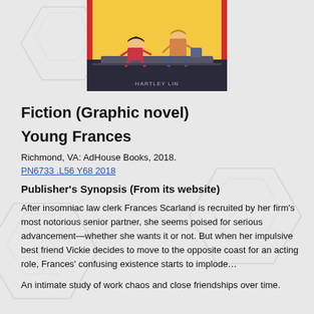[Figure (illustration): Book cover of 'Young Frances' showing illustrated characters in comic style with 'HARTLEY LIN' text at the bottom right, partial view cropped at top]
Fiction (Graphic novel)
Young Frances
Richmond, VA: AdHouse Books, 2018.
PN6733 .L56 Y68 2018
Publisher's Synopsis (From its website)
After insomniac law clerk Frances Scarland is recruited by her firm's most notorious senior partner, she seems poised for serious advancement—whether she wants it or not. But when her impulsive best friend Vickie decides to move to the opposite coast for an acting role, Frances' confusing existence starts to implode…
An intimate study of work chaos and close friendships over time.